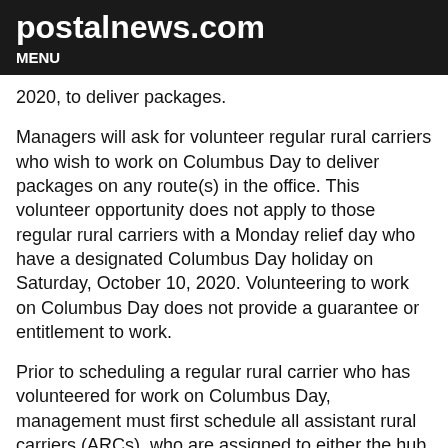postalnews.com
MENU
2020, to deliver packages.
Managers will ask for volunteer regular rural carriers who wish to work on Columbus Day to deliver packages on any route(s) in the office. This volunteer opportunity does not apply to those regular rural carriers with a Monday relief day who have a designated Columbus Day holiday on Saturday, October 10, 2020. Volunteering to work on Columbus Day does not provide a guarantee or entitlement to work.
Prior to scheduling a regular rural carrier who has volunteered for work on Columbus Day, management must first schedule all assistant rural carriers (ARCs), who are assigned to either the hub or associated spoke offices; and then all available leave replacements in the